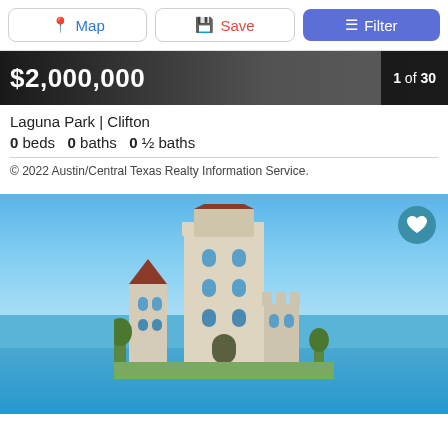[Figure (screenshot): Top navigation bar with Map, Save, and Filter buttons]
[Figure (photo): Listing banner showing $2,000,000 price on a dark background with '1 of 30' count badge]
Laguna Park | Clifton
0 beds   0 baths   0 ½ baths
© 2022 Austin/Central Texas Realty Information Service.
[Figure (photo): Exterior photo of a large castle-like stone building with towers and arched windows, set against a blue sky near water]